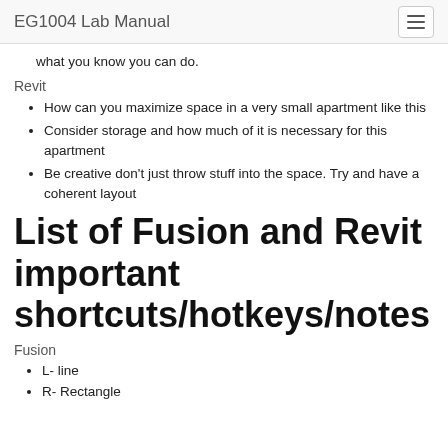EG1004 Lab Manual
what you know you can do.
Revit
How can you maximize space in a very small apartment like this
Consider storage and how much of it is necessary for this apartment
Be creative don't just throw stuff into the space. Try and have a coherent layout
List of Fusion and Revit important shortcuts/hotkeys/notes
Fusion
L- line
R- Rectangle